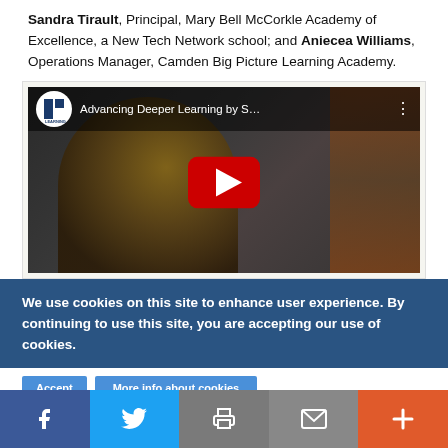Sandra Tirault, Principal, Mary Bell McCorkle Academy of Excellence, a New Tech Network school; and Aniecea Williams, Operations Manager, Camden Big Picture Learning Academy.
[Figure (screenshot): YouTube video embed showing 'Advancing Deeper Learning by S...' from Learning Policy Institute, with a play button overlay and a person in a bookstore/library background.]
We use cookies on this site to enhance user experience. By continuing to use this site, you are accepting our use of cookies.
Accept | More info buttons
Facebook | Twitter | Print | Email | More share buttons